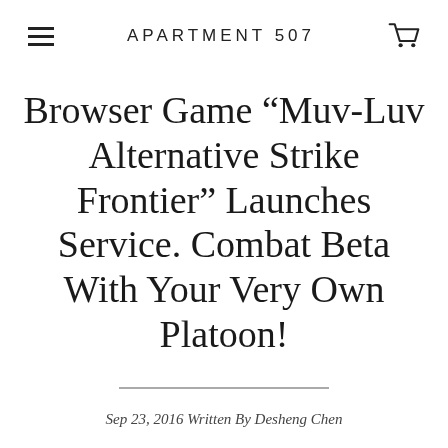APARTMENT 507
Browser Game “Muv-Luv Alternative Strike Frontier” Launches Service. Combat Beta With Your Very Own Platoon!
Sep 23, 2016 Written By Desheng Chen
Shop and import directly from Japan.